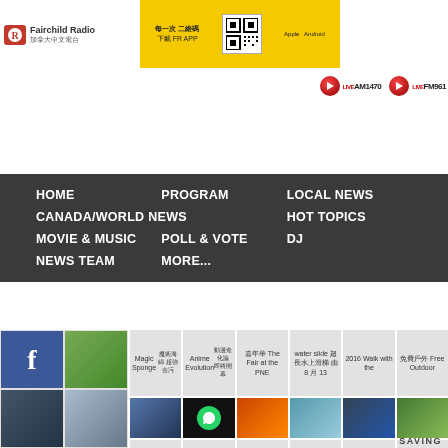[Figure (screenshot): Fairchild Radio banner with logo, yellow app download advertisement, and QR code]
[Figure (screenshot): Live radio buttons: LIVE AM1470 and LIVE FM961]
HOME   PROGRAM   LOCAL NEWS   CANADA/WORLD NEWS   HOT TOPICS   MOVIE & MUSIC   POLL & VOTE   DJ   NEWS TEAM   MORE...
[Figure (screenshot): Website content grid with news article cards including Magic Sponge, Anime Evolution, The Fair at the PNE, water slide, 2016 Walk with the, Free Outdoor, and second row with App, Scam WhatsApp, Wildfires, Earth Month, Pin Code Theft, Earth Month DJ]
SAVING